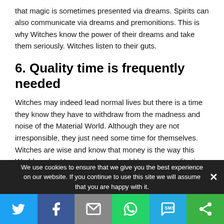that magic is sometimes presented via dreams. Spirits can also communicate via dreams and premonitions. This is why Witches know the power of their dreams and take them seriously. Witches listen to their guts.
6. Quality time is frequently needed
Witches may indeed lead normal lives but there is a time they know they have to withdraw from the madness and noise of the Material World. Although they are not irresponsible, they just need some time for themselves. Witches are wise and know that money is the way this World works. However, there should be some quality time for themselves and their Craft.
We use cookies to ensure that we give you the best experience on our website. If you continue to use this site we will assume that you are happy with it.